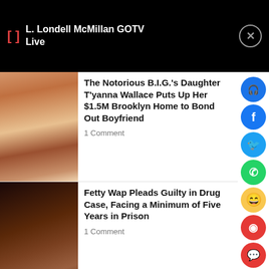L. Londell McMillan GOTV Live
[Figure (photo): Woman in white dress, photo thumbnail for first news article]
The Notorious B.I.G.'s Daughter T'yanna Wallace Puts Up Her $1.5M Brooklyn Home to Bond Out Boyfriend
1 Comment
[Figure (photo): Man performing with microphone, wearing Wisconsin hoodie, photo thumbnail for second news article]
Fetty Wap Pleads Guilty in Drug Case, Facing a Minimum of Five Years in Prison
1 Comment
[Figure (photo): Photo thumbnail for third news article about Offset and Moneybagg Yo]
Offset Nabs Moneybagg Yo